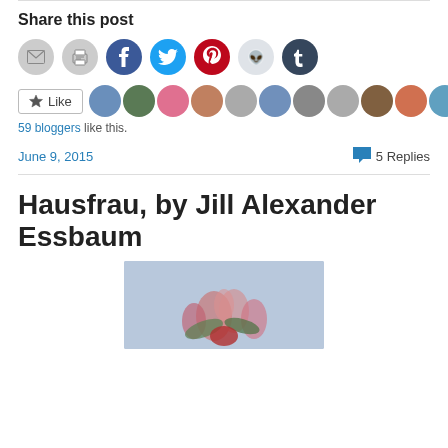Share this post
[Figure (infographic): Row of social sharing icon circles: email (grey), print (grey), Facebook (blue), Twitter (light blue), Pinterest (red), Reddit (light grey), Tumblr (dark blue)]
[Figure (infographic): Like button with star icon and a strip of 11 blogger avatar thumbnails]
59 bloggers like this.
June 9, 2015   ● 5 Replies
Hausfrau, by Jill Alexander Essbaum
[Figure (photo): Book cover or decorative image with pink flowers on a light blue/lavender background]